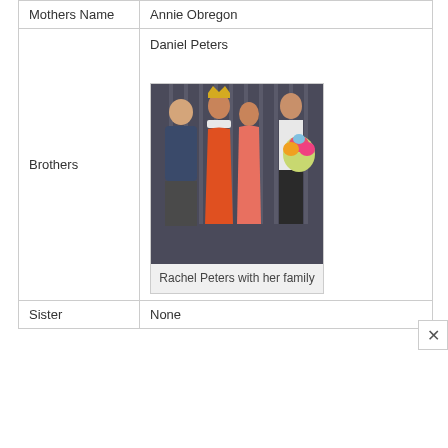| Field | Value |
| --- | --- |
| Mothers Name | Annie Obregon |
| Brothers | Daniel Peters
[photo: Rachel Peters with her family] |
| Sister | None |